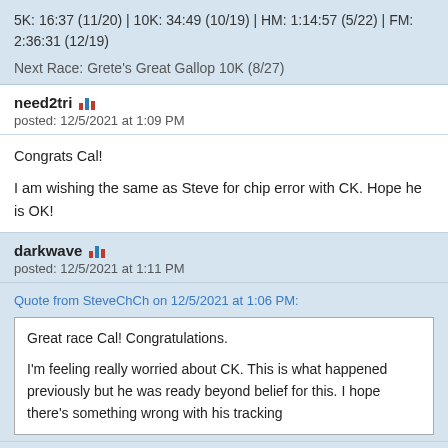5K: 16:37 (11/20)  |  10K: 34:49 (10/19)  |  HM: 1:14:57 (5/22)  |  FM: 2:36:31 (12/19)
Next Race: Grete's Great Gallop 10K (8/27)
need2tri
posted: 12/5/2021 at 1:09 PM
Congrats Cal!
I am wishing the same as Steve for chip error with CK. Hope he is OK!
darkwave
posted: 12/5/2021 at 1:11 PM
Quote from SteveChCh on 12/5/2021 at 1:06 PM:
Great race Cal!  Congratulations.

I'm feeling really worried about CK.  This is what happened previously but he was ready beyond belief for this.  I hope there's something wrong with his tracking
I'm hoping the chip malfunctioned.